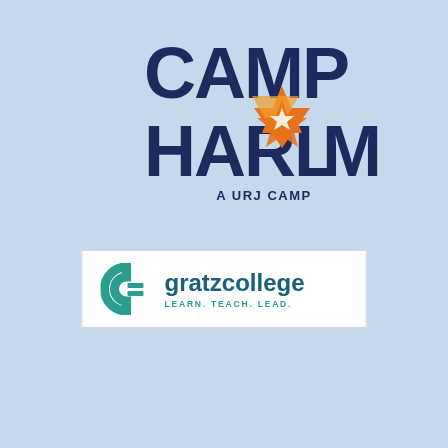[Figure (logo): Camp Harlam logo — bold dark navy text reading CAMP HARLAM with an orange flame/star icon in the letter O, and subtitle A URJ CAMP]
[Figure (logo): Gratz College logo — teal/green circular G icon with horizontal lines, followed by text 'gratz college' in dark teal bold and tagline 'LEARN. TEACH. LEAD.' on a white rectangular background]
FACEBOOK